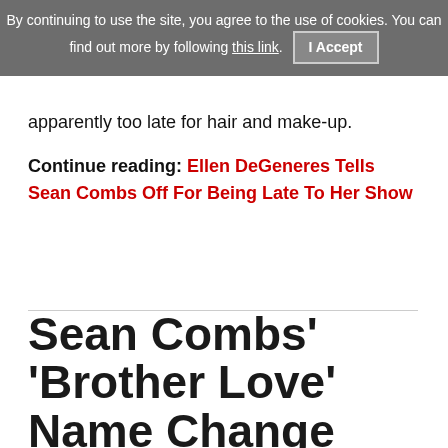By continuing to use the site, you agree to the use of cookies. You can find out more by following this link. I Accept
apparently too late for hair and make-up.
Continue reading: Ellen DeGeneres Tells Sean Combs Off For Being Late To Her Show
Sean Combs' 'Brother Love' Name Change 'Joke' Doesn't Exactly Land